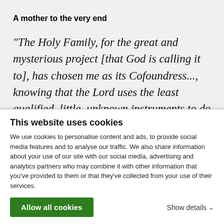A mother to the very end
“The Holy Family, for the great and mysterious project [that God is calling it to], has chosen me as its Cofoundress..., knowing that the Lord uses the least qualified, little, unknown instruments to do great works.... I am tranquil and convinced that the Institute, the work of God, will be
This website uses cookies
We use cookies to personalise content and ads, to provide social media features and to analyse our traffic. We also share information about your use of our site with our social media, advertising and analytics partners who may combine it with other information that you’ve provided to them or that they’ve collected from your use of their services.
Allow all cookies
Show details